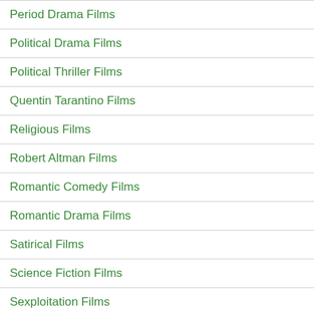Period Drama Films
Political Drama Films
Political Thriller Films
Quentin Tarantino Films
Religious Films
Robert Altman Films
Romantic Comedy Films
Romantic Drama Films
Satirical Films
Science Fiction Films
Sexploitation Films
Short Films
Slasher Films